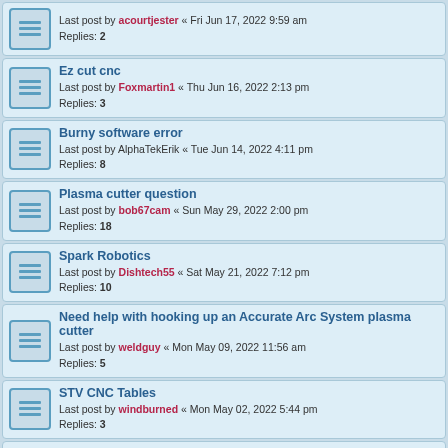Last post by acourtjester « Fri Jun 17, 2022 9:59 am
Replies: 2
Ez cut cnc
Last post by Foxmartin1 « Thu Jun 16, 2022 2:13 pm
Replies: 3
Burny software error
Last post by AlphaTekErik « Tue Jun 14, 2022 4:11 pm
Replies: 8
Plasma cutter question
Last post by bob67cam « Sun May 29, 2022 2:00 pm
Replies: 18
Spark Robotics
Last post by Dishtech55 « Sat May 21, 2022 7:12 pm
Replies: 10
Need help with hooking up an Accurate Arc System plasma cutter
Last post by weldguy « Mon May 09, 2022 11:56 am
Replies: 5
STV CNC Tables
Last post by windburned « Mon May 02, 2022 5:44 pm
Replies: 3
Help with identifying manufacturer of a Plasma Table
Last post by weldguy « Mon Apr 25, 2022 10:24 am
Replies: 1
tech support
Last post by adbuch « Sat Mar 26, 2022 6:08 am
Replies: 1
CnC...